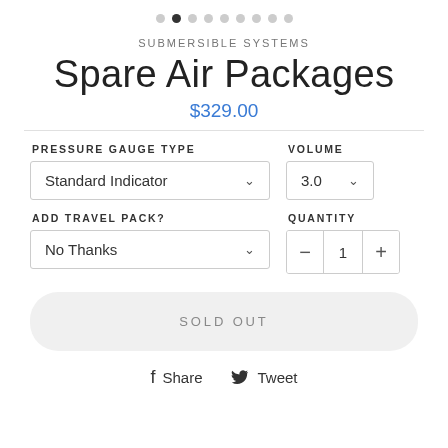[Figure (other): Carousel pagination dots, 9 total, second dot active]
SUBMERSIBLE SYSTEMS
Spare Air Packages
$329.00
PRESSURE GAUGE TYPE
Standard Indicator
VOLUME
3.0
ADD TRAVEL PACK?
No Thanks
QUANTITY
1
SOLD OUT
Share
Tweet